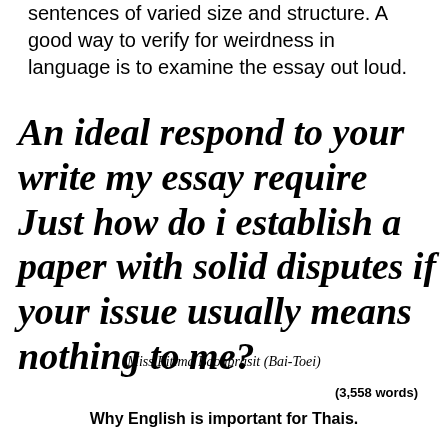sentences of varied size and structure. A good way to verify for weirdness in language is to examine the essay out loud.
An ideal respond to your write my essay require Just how do i establish a paper with solid disputes if your issue usually means nothing to me?
Miss Pitima Baonprasit (Bai-Toei)
(3,558 words)
Why English is important for Thais.